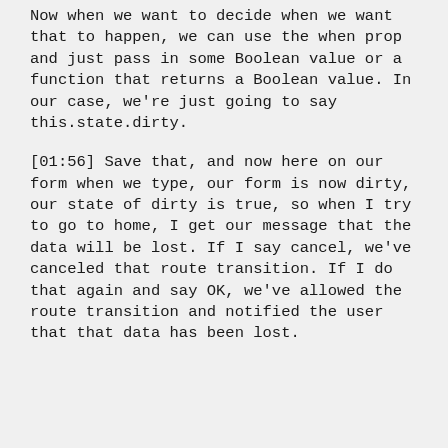Now when we want to decide when we want that to happen, we can use the when prop and just pass in some Boolean value or a function that returns a Boolean value. In our case, we're just going to say this.state.dirty.
[01:56] Save that, and now here on our form when we type, our form is now dirty, our state of dirty is true, so when I try to go to home, I get our message that the data will be lost. If I say cancel, we've canceled that route transition. If I do that again and say OK, we've allowed the route transition and notified the user that that data has been lost.